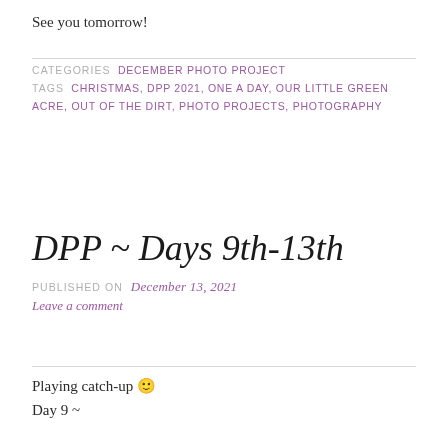See you tomorrow!
CATEGORIES  DECEMBER PHOTO PROJECT
TAGS  CHRISTMAS, DPP 2021, ONE A DAY, OUR LITTLE GREEN ACRE, OUT OF THE DIRT, PHOTO PROJECTS, PHOTOGRAPHY
DPP ~ Days 9th-13th
PUBLISHED ON  December 13, 2021
Leave a comment
Playing catch-up 🙂
Day 9 ~